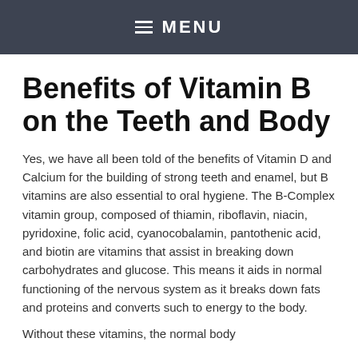MENU
Benefits of Vitamin B on the Teeth and Body
Yes, we have all been told of the benefits of Vitamin D and Calcium for the building of strong teeth and enamel, but B vitamins are also essential to oral hygiene. The B-Complex vitamin group, composed of thiamin, riboflavin, niacin, pyridoxine, folic acid, cyanocobalamin, pantothenic acid, and biotin are vitamins that assist in breaking down carbohydrates and glucose. This means it aids in normal functioning of the nervous system as it breaks down fats and proteins and converts such to energy to the body.
Without these vitamins, the normal body